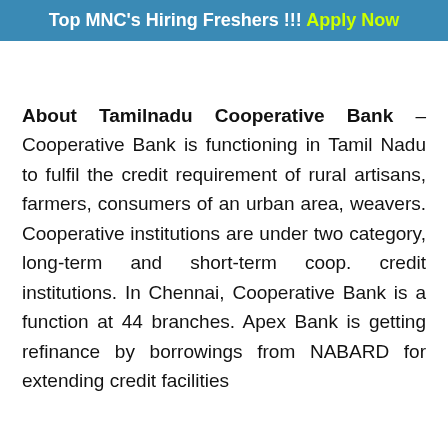Top MNC's Hiring Freshers !!! Apply Now
About Tamilnadu Cooperative Bank – Cooperative Bank is functioning in Tamil Nadu to fulfil the credit requirement of rural artisans, farmers, consumers of an urban area, weavers. Cooperative institutions are under two category, long-term and short-term coop. credit institutions. In Chennai, Cooperative Bank is a function at 44 branches. Apex Bank is getting refinance by borrowings from NABARD for extending credit facilities